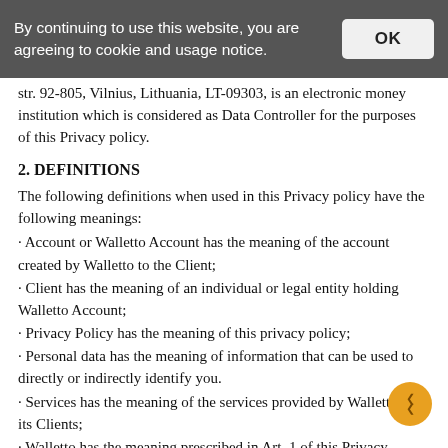By continuing to use this website, you are agreeing to cookie and usage notice.
str. 92-805, Vilnius, Lithuania, LT-09303, is an electronic money institution which is considered as Data Controller for the purposes of this Privacy policy.
2. DEFINITIONS
The following definitions when used in this Privacy policy have the following meanings:
· Account or Walletto Account has the meaning of the account created by Walletto to the Client;
· Client has the meaning of an individual or legal entity holding Walletto Account;
· Privacy Policy has the meaning of this privacy policy;
· Personal data has the meaning of information that can be used to directly or indirectly identify you.
· Services has the meaning of the services provided by Walletto to its Clients;
· Walletto has the meaning prescribed in Art. 1 of this Privacy Policy;
· Website or Walletto Website has the meaning of the website available at https://www.walletto.eu/